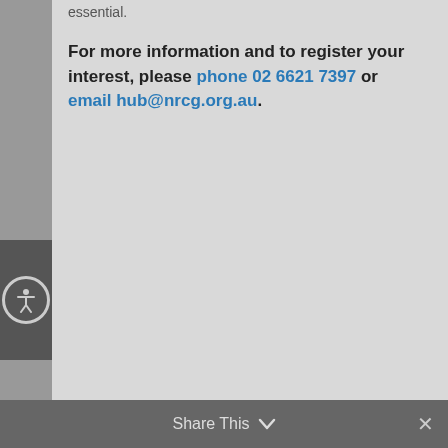essential.
For more information and to register your interest, please phone 02 6621 7397 or email hub@nrcg.org.au.
Share This ✓  ✕